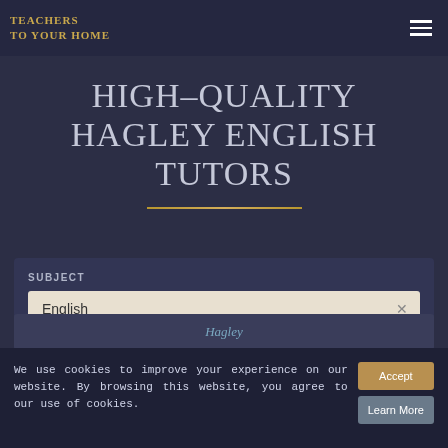TEACHERS TO YOUR HOME
HIGH-QUALITY HAGLEY ENGLISH TUTORS
SUBJECT
English
We use cookies to improve your experience on our website. By browsing this website, you agree to our use of cookies.
Accept
Learn More
Hagley